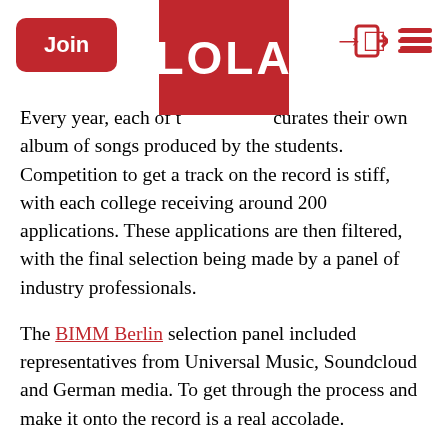Join | LOLA
Every year, each of the colleges curates their own album of songs produced by the students. Competition to get a track on the record is stiff, with each college receiving around 200 applications. These applications are then filtered, with the final selection being made by a panel of industry professionals.
The BIMM Berlin selection panel included representatives from Universal Music, Soundcloud and German media. To get through the process and make it onto the record is a real accolade.
BIMM Berlin’s 2017 album showcases some of their finest artists from this year’s programme. Recorded at Trixx Studios in Kreuzberg by renowned producer Pete Smtih, the album highlights the school’s breadth of